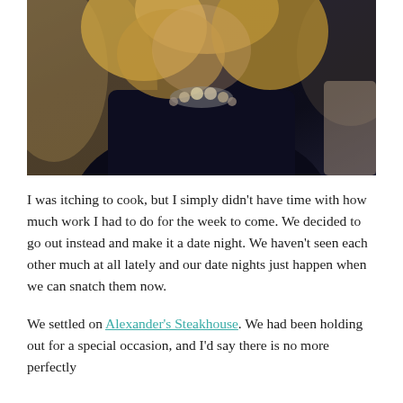[Figure (photo): A woman with blonde hair wearing a black top and a decorative floral necklace, photographed from the neck down slightly, with a warm bokeh background.]
I was itching to cook, but I simply didn't have time with how much work I had to do for the week to come. We decided to go out instead and make it a date night. We haven't seen each other much at all lately and our date nights just happen when we can snatch them now.
We settled on Alexander's Steakhouse. We had been holding out for a special occasion, and I'd say there is no more perfectly